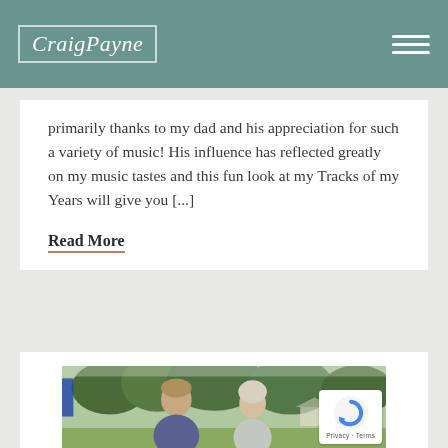Craig Payne
primarily thanks to my dad and his appreciation for such a variety of music! His influence has reflected greatly on my music tastes and this fun look at my Tracks of my Years will give you [...]
Read More
[Figure (photo): Outdoor photo of an older man and woman smiling, at what appears to be a garden or outdoor event, with green trees and marquee/tent structures in the background]